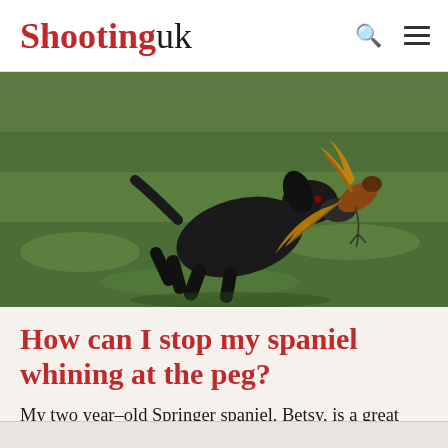Shooting uk
[Figure (photo): A black Springer spaniel retrieving a pheasant across a green grass field, photographed in motion.]
How can I stop my spaniel whining at the peg?
My two year–old Springer spaniel, Betsy, is a great worker but she will insist on whining whenever she is made...